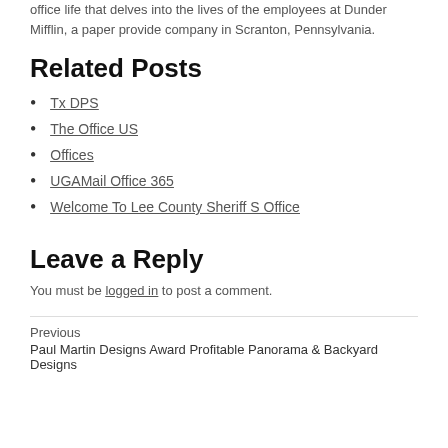office life that delves into the lives of the employees at Dunder Mifflin, a paper provide company in Scranton, Pennsylvania.
Related Posts
Tx DPS
The Office US
Offices
UGAMail Office 365
Welcome To Lee County Sheriff S Office
Leave a Reply
You must be logged in to post a comment.
Previous
Paul Martin Designs Award Profitable Panorama & Backyard Designs